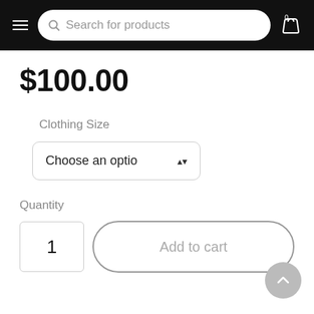Search for products
$100.00
Clothing Size
Choose an optio
Quantity
1
Add to cart